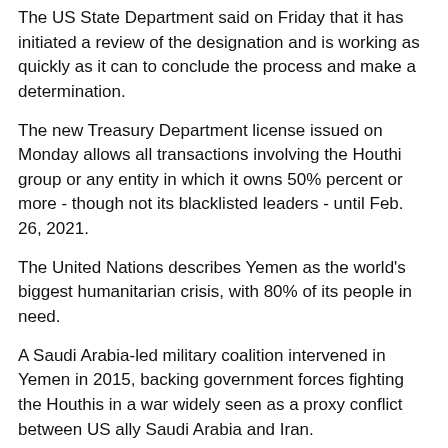The US State Department said on Friday that it has initiated a review of the designation and is working as quickly as it can to conclude the process and make a determination.
The new Treasury Department license issued on Monday allows all transactions involving the Houthi group or any entity in which it owns 50% percent or more - though not its blacklisted leaders - until Feb. 26, 2021.
The United Nations describes Yemen as the world's biggest humanitarian crisis, with 80% of its people in need.
A Saudi Arabia-led military coalition intervened in Yemen in 2015, backing government forces fighting the Houthis in a war widely seen as a proxy conflict between US ally Saudi Arabia and Iran.
UN officials are trying to revive peace talks to end the war as Yemen's suffering is also worsened by an economic collapse and the COVID-19 pandemic.